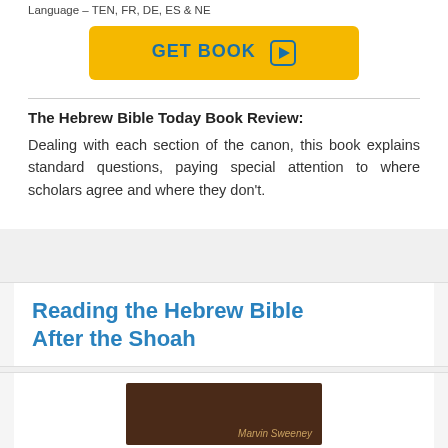Language – TEN, FR, DE, ES & NE
[Figure (other): GET BOOK button with play icon, yellow background]
The Hebrew Bible Today Book Review:
Dealing with each section of the canon, this book explains standard questions, paying special attention to where scholars agree and where they don't.
Reading the Hebrew Bible After the Shoah
[Figure (photo): Book cover image with dark brown background and text 'Marvin Sweeney']